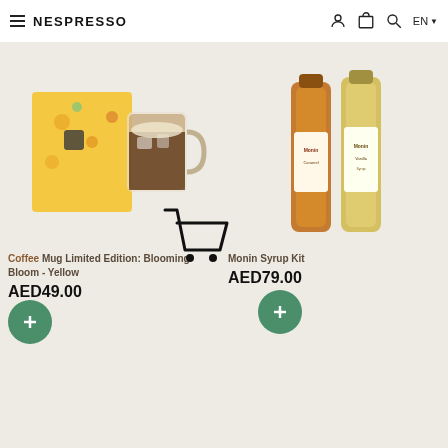Nespresso — EN navigation bar with hamburger menu, logo, user icon, cart icon, search icon, language selector
[Figure (photo): Coffee Mug Limited Edition Blooming Bloom Yellow product — yellow floral gift box and glass mug with iced coffee]
[Figure (photo): Monin Syrup Kit — two bottles of Monin syrups, caramel and vanilla]
Coffee Mug Limited Edition: Blooming Bloom - Yellow
AED49.00
Monin Syrup Kit
AED79.00